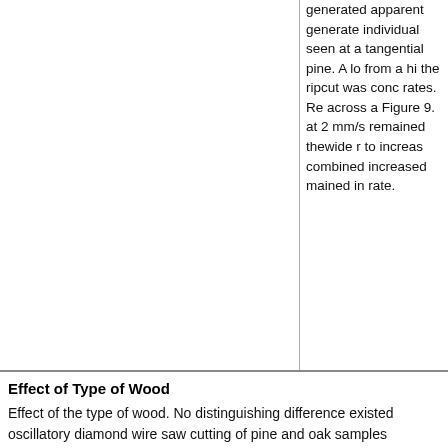[Figure (other): Left half of a two-column layout showing a figure or image area (cropped/blank in this view)]
generated apparent generate individual seen at a tangential pine. A lo from a hi the ripcut was conc rates. Re across a Figure 9. at 2 mm/s remained thewide r to increas combined increased mained in rate.
Effect of Type of Wood
Effect of the type of wood. No distinguishing difference existed oscillatory diamond wire saw cutting of pine and oak samples